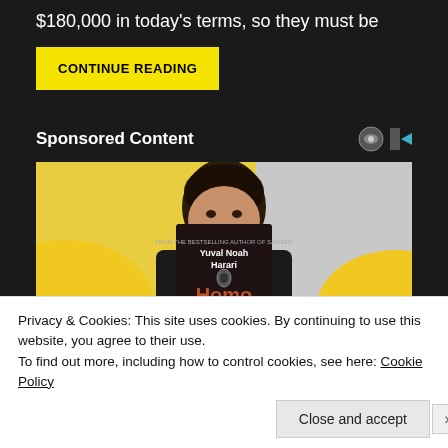$180,000 in today’s terms, so they must be
CONTINUE READING
Sponsored Content
[Figure (photo): Person holding a book titled 'Homo' by Yuval Noah Harari, with a yellow and grey background in a sponsored content advertisement]
Privacy & Cookies: This site uses cookies. By continuing to use this website, you agree to their use.
To find out more, including how to control cookies, see here: Cookie Policy
Close and accept